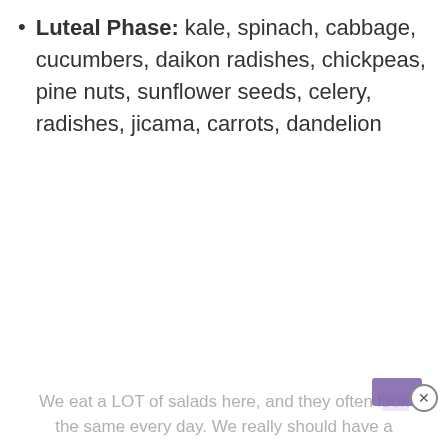Luteal Phase: kale, spinach, cabbage, cucumbers, daikon radishes, chickpeas, pine nuts, sunflower seeds, celery, radishes, jicama, carrots, dandelion
We eat a LOT of salads here, and they often look the same every day. We really should have a